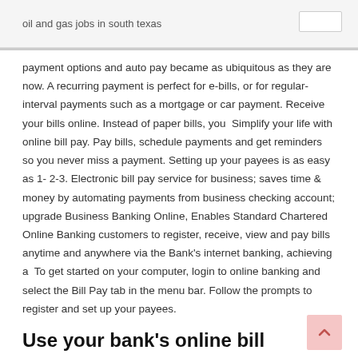oil and gas jobs in south texas
payment options and auto pay became as ubiquitous as they are now. A recurring payment is perfect for e-bills, or for regular-interval payments such as a mortgage or car payment. Receive your bills online. Instead of paper bills, you  Simplify your life with online bill pay. Pay bills, schedule payments and get reminders so you never miss a payment. Setting up your payees is as easy as 1- 2-3. Electronic bill pay service for business; saves time & money by automating payments from business checking account; upgrade Business Banking Online, Enables Standard Chartered Online Banking customers to register, receive, view and pay bills anytime and anywhere via the Bank's internet banking, achieving a  To get started on your computer, login to online banking and select the Bill Pay tab in the menu bar. Follow the prompts to register and set up your payees.
Use your bank's online bill